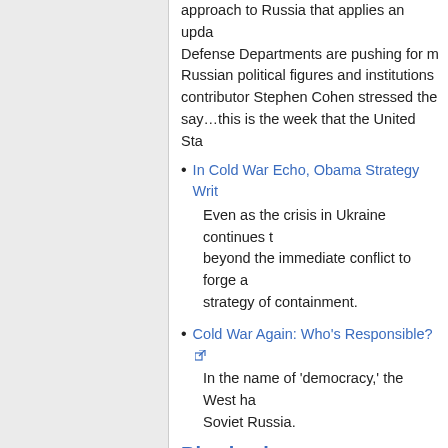approach to Russia that applies an upda... Defense Departments are pushing for m... Russian political figures and institutions... contributor Stephen Cohen stressed the... say…this is the week that the United Sta...
In Cold War Echo, Obama Strategy Writ... Even as the crisis in Ukraine continues t... beyond the immediate conflict to forge a... strategy of containment.
Cold War Again: Who's Responsible? [ext] In the name of 'democracy,' the West ha... Soviet Russia.
Blowback
Isis, Khmer Rouge, Taliban: the awful pr... Isis is simply the latest in a series of fana... intervention argues Alastair Stephens
Deep State